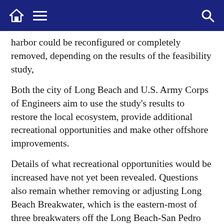Navigation bar with home, menu, and search icons
harbor could be reconfigured or completely removed, depending on the results of the feasibility study,
Both the city of Long Beach and U.S. Army Corps of Engineers aim to use the study’s results to restore the local ecosystem, provide additional recreational opportunities and make other offshore improvements.
Details of what recreational opportunities would be increased have not yet been revealed. Questions also remain whether removing or adjusting Long Beach Breakwater, which is the eastern-most of three breakwaters off the Long Beach-San Pedro coast, would impact recreational boating or fishing.
Reconfiguring or removing Long Beach Breakwater could result in cleaner water in the San Pedro Bay.
“The study’s purpose is to evaluate opportunities for